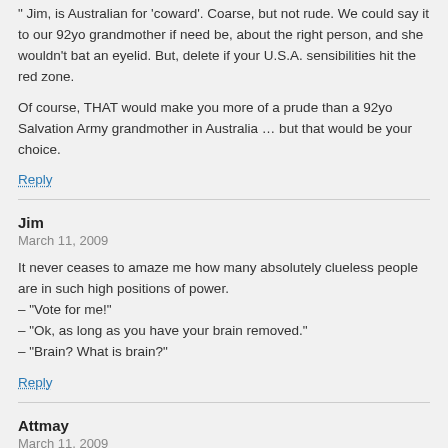" Jim, is Australian for 'coward'. Coarse, but not rude. We could say it to our 92yo grandmother if need be, about the right person, and she wouldn't bat an eyelid. But, delete if your U.S.A. sensibilities hit the red zone.

Of course, THAT would make you more of a prude than a 92yo Salvation Army grandmother in Australia … but that would be your choice.
Reply
Jim
March 11, 2009
It never ceases to amaze me how many absolutely clueless people are in such high positions of power.
– "Vote for me!"
– "Ok, as long as you have your brain removed."
– "Brain? What is brain?"
Reply
Attmay
March 11, 2009
A 100% gay world. He says that like it's somehow a bad